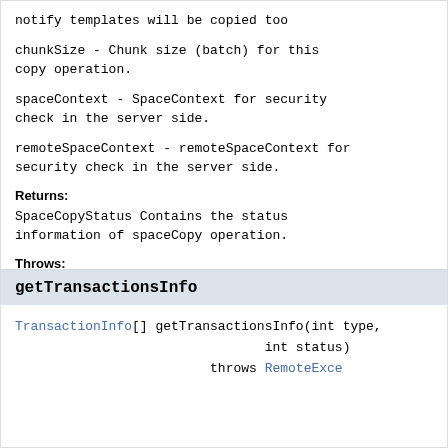notify templates will be copied too
chunkSize - Chunk size (batch) for this copy operation.
spaceContext - SpaceContext for security check in the server side.
remoteSpaceContext - remoteSpaceContext for security check in the server side.
Returns:
SpaceCopyStatus Contains the status information of spaceCopy operation.
Throws:
RemoteException - if a communication error occurs
getTransactionsInfo
TransactionInfo[] getTransactionsInfo(int type,
                                int status)
                         throws RemoteExce